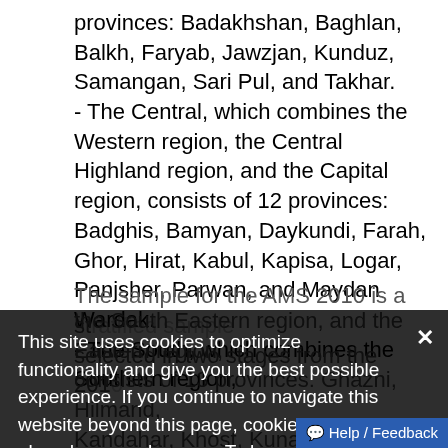provinces: Badakhshan, Baghlan, Balkh, Faryab, Jawzjan, Kunduz, Samangan, Sari Pul, and Takhar. - The Central, which combines the Western region, the Central Highland region, and the Capital region, consists of 12 provinces: Badghis, Bamyan, Daykundi, Farah, Ghor, Hirat, Kabul, Kapisa, Logar, Panjsher, Parwan, and Maydan Wardak. - The South, which combines the Southern region, the South Eastern region, and the Eastern region, consists of 13 provinces: Ghazni, Hilmand, Kandahar, Khost, Kunar, Laghman, Nangarhar, Nimroz, Nuristan, Paktika, Paktya, Uruzgan, and Zabul.
The sample for the AMS 2010 is a stratified sample selected in two stages from the 2010...
This site uses cookies to optimize functionality and give you the best possible experience. If you continue to navigate this website beyond this page, cookies will be placed on your browser. To learn more about cookies, click here.